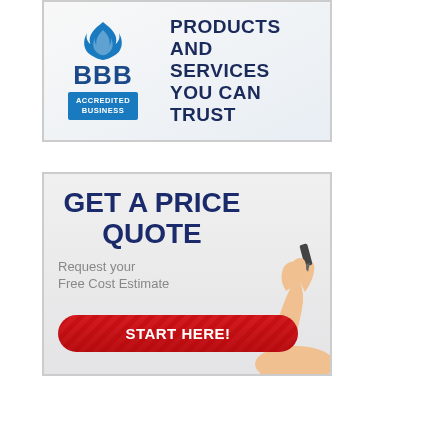[Figure (logo): BBB Accredited Business badge with flame logo and text: PRODUCTS AND SERVICES YOU CAN TRUST]
[Figure (infographic): Advertisement banner: GET A PRICE QUOTE - Request your Free Cost Estimate - START HERE! button with hand holding pen illustration]